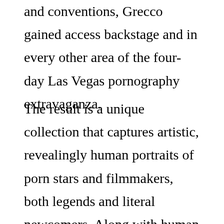and conventions, Grecco gained access backstage and in every other area of the four-day Las Vegas pornography extravaganza.
The result is a unique collection that captures artistic, revealingly human portraits of porn stars and filmmakers, both legends and literal newcomers. Along with human subjects, the book features provocative props, hardware, footwear, sex toys and gadgets used exclusively in the adult industry.